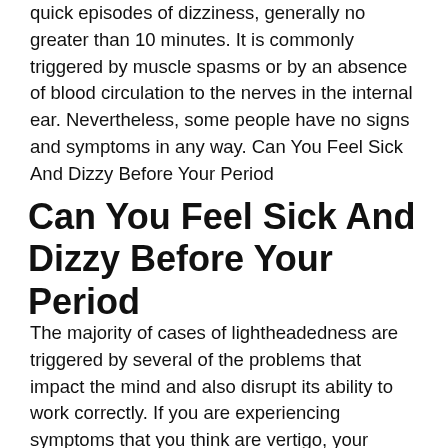quick episodes of dizziness, generally no greater than 10 minutes. It is commonly triggered by muscle spasms or by an absence of blood circulation to the nerves in the internal ear. Nevertheless, some people have no signs and symptoms in any way. Can You Feel Sick And Dizzy Before Your Period
Can You Feel Sick And Dizzy Before Your Period
The majority of cases of lightheadedness are triggered by several of the problems that impact the mind and also disrupt its ability to work correctly. If you are experiencing symptoms that you think are vertigo, your medical professional will certainly most likely